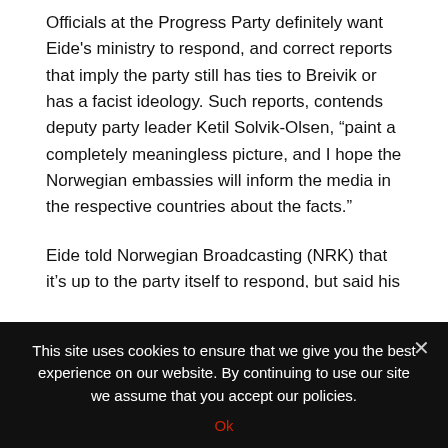Officials at the Progress Party definitely want Eide's ministry to respond, and correct reports that imply the party still has ties to Breivik or has a facist ideology. Such reports, contends deputy party leader Ketil Solvik-Olsen, “paint a completely meaningless picture, and I hope the Norwegian embassies will inform the media in the respective countries about the facts.”
Eide told Norwegian Broadcasting (NRK) that it’s up to the party itself to respond, but said his ministry will gladly contribute to the process. “We will help them as much as we
This site uses cookies to ensure that we give you the best experience on our website. By continuing to use our site we assume that you accept our policies.